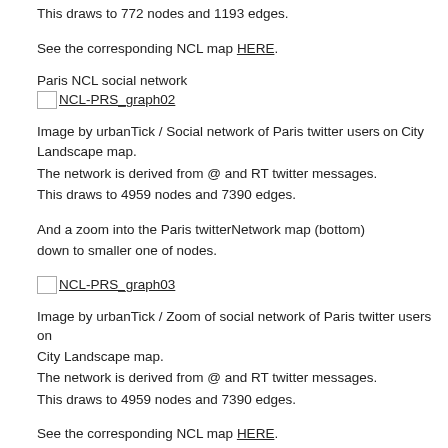This draws to 772 nodes and 1193 edges.
See the corresponding NCL map HERE.
Paris NCL social network
NCL-PRS_graph02
Image by urbanTick / Social network of Paris twitter users on City Landscape map.
The network is derived from @ and RT twitter messages.
This draws to 4959 nodes and 7390 edges.
And a zoom into the Paris twitterNetwork map (bottom) zooming down to smaller one of nodes.
NCL-PRS_graph03
Image by urbanTick / Zoom of social network of Paris twitter users on City Landscape map.
The network is derived from @ and RT twitter messages.
This draws to 4959 nodes and 7390 edges.
See the corresponding NCL map HERE.
The NCL maps cover a lot more cities, see the world map. I will be showing them here on the bog so stay tuned, some ex